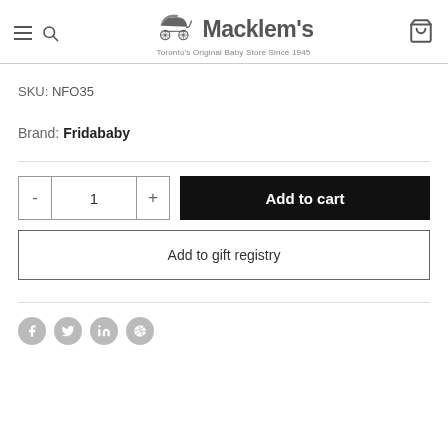Macklem's — Toronto's Original Baby Store Since 1945
SKU: NFO35
Brand: Fridababy
Add to cart
Add to gift registry